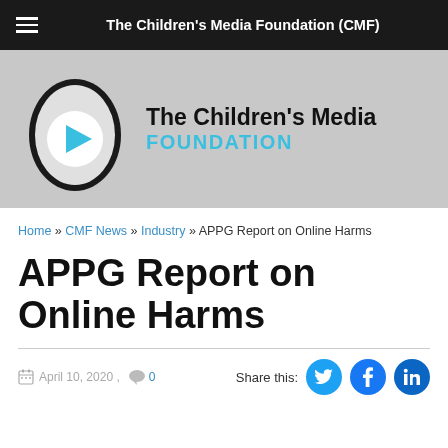The Children's Media Foundation (CMF)
[Figure (logo): The Children's Media Foundation logo — egg-shaped icon with a play button triangle and text 'The Children's Media Foundation' on grey background]
Home » CMF News » Industry » APPG Report on Online Harms
APPG Report on Online Harms
April 10, 2020 ,  0  Share this: